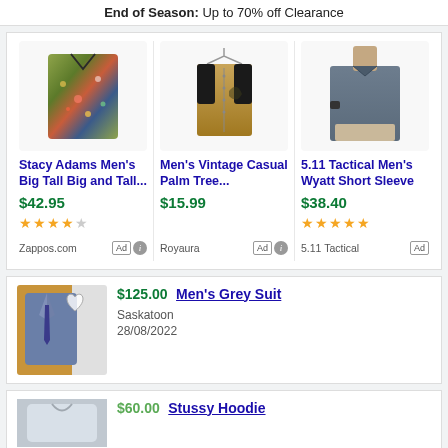End of Season: Up to 70% off Clearance
[Figure (photo): Stacy Adams Men's Big Tall floral shirt product image]
Stacy Adams Men's Big Tall Big and Tall...
$42.95
★★★★☆
Zappos.com Ad
[Figure (photo): Men's Vintage Casual Palm Tree tan shirt on hanger]
Men's Vintage Casual Palm Tree...
$15.99
Royaura Ad
[Figure (photo): 5.11 Tactical Men's Wyatt Short Sleeve blue polo shirt]
5.11 Tactical Men's Wyatt Short Sleeve
$38.40
★★★★★
5.11 Tactical Ad
[Figure (photo): Men's grey suit jacket on hanger]
$125.00 Men's Grey Suit
Saskatoon
28/08/2022
[Figure (photo): Stussy Hoodie partial image]
$60.00 Stussy Hoodie